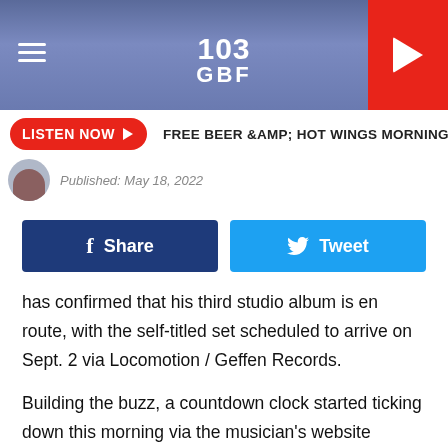[Figure (screenshot): 103 GBF radio station header with hamburger menu, logo, and play button]
LISTEN NOW ▶  FREE BEER &AMP; HOT WINGS MORNING SHOW  T
Published: May 18, 2022
[Figure (other): Facebook Share button and Twitter Tweet button]
has confirmed that his third studio album is en route, with the self-titled set scheduled to arrive on Sept. 2 via Locomotion / Geffen Records.
Building the buzz, a countdown clock started ticking down this morning via the musician's website leading to a livestream where Yungblud made the official announcement for the album. While broadcasting, the musician proceeded to get a tattoo in his ribcage area to commemorate the